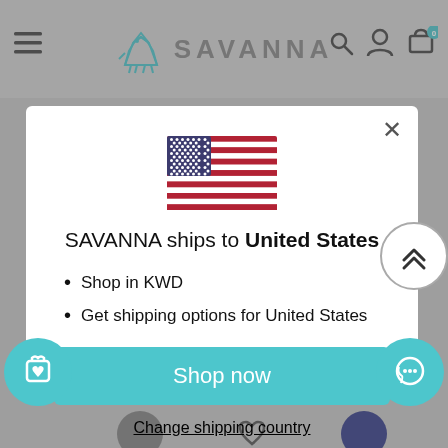[Figure (screenshot): SAVANNA e-commerce website header with logo, hamburger menu, search icon, account icon, and cart icon showing 0 items]
[Figure (screenshot): Modal dialog showing US flag, shipping information, and shop now button]
SAVANNA ships to United States
Shop in KWD
Get shipping options for United States
Shop now
Change shipping country